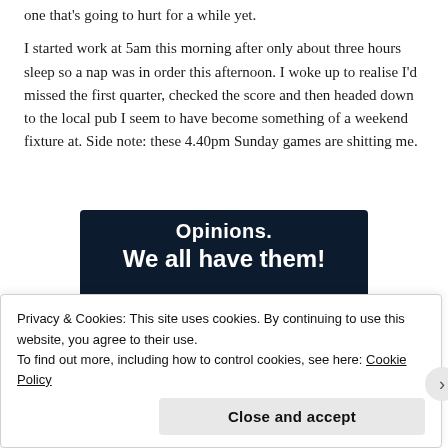one that's going to hurt for a while yet.

I started work at 5am this morning after only about three hours sleep so a nap was in order this afternoon. I woke up to realise I'd missed the first quarter, checked the score and then headed down to the local pub I seem to have become something of a weekend fixture at. Side note: these 4.40pm Sunday games are shitting me.
[Figure (illustration): Advertisement banner with dark navy background. Text reads 'Opinions.' and 'We all have them!' in white. A pink 'Start a survey' button on the left and a Crowdsignal logo circle on the right.]
Privacy & Cookies: This site uses cookies. By continuing to use this website, you agree to their use.
To find out more, including how to control cookies, see here: Cookie Policy

Close and accept